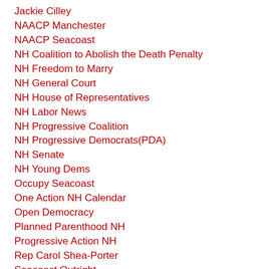Jackie Cilley
NAACP Manchester
NAACP Seacoast
NH Coalition to Abolish the Death Penalty
NH Freedom to Marry
NH General Court
NH House of Representatives
NH Labor News
NH Progressive Coalition
NH Progressive Democrats(PDA)
NH Senate
NH Young Dems
Occupy Seacoast
One Action NH Calendar
Open Democracy
Planned Parenthood NH
Progressive Action NH
Rep Carol Shea-Porter
Seacoast Outright